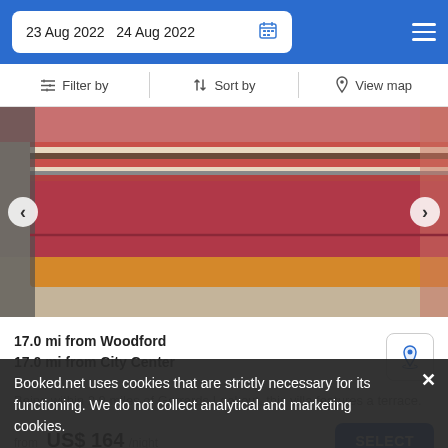23 Aug 2022   24 Aug 2022
Filter by   Sort by   View map
[Figure (photo): Close-up photo of a bed with a red/pink striped bedspread and an orange/yellow bed frame, viewed from the foot of the bed at an angle. Herringbone patterned floor visible.]
17.0 mi from Woodford
17.0 mi from City Center
Being within 2.9 miles of Gerrards Lookout, this villa features a terrace.
from US$ 164/night
SELECT
Booked.net uses cookies that are strictly necessary for its functioning. We do not collect analytical and marketing cookies.
Lake View Chalet